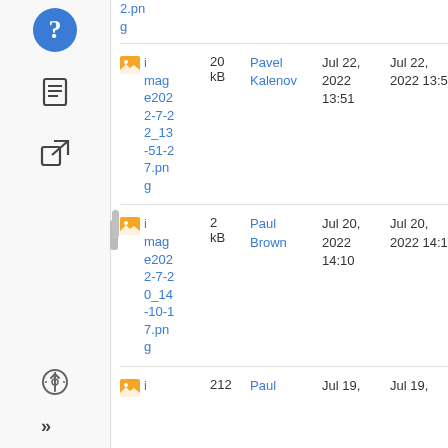[Figure (screenshot): Sidebar with navigation icons: question mark (blue circle), document icon, export/link icon, gear icon, double-right arrow]
| Name | Size | User | Date1 | Date2 | Label |
| --- | --- | --- | --- | --- | --- |
| 2.png |  |  |  |  |  |
| image2022-7-22_13-51-27.png | 20 kB | Pavel Kalenov | Jul 22, 2022 13:51 | Jul 22, 2022 13:51 | No lab |
| image2022-7-20_14-10-17.png | 2 kB | Paul Brown | Jul 20, 2022 14:10 | Jul 20, 2022 14:15 | No lab |
| i | 212 | Paul | Jul 19, | Jul 19, | No lab |